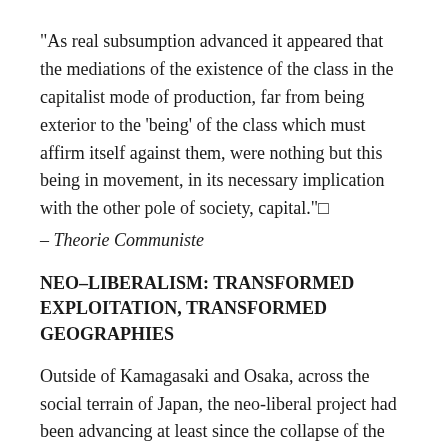"As real subsumption advanced it appeared that the mediations of the existence of the class in the capitalist mode of production, far from being exterior to the 'being' of the class which must affirm itself against them, were nothing but this being in movement, in its necessary implication with the other pole of society, capital."□
– Theorie Communiste
NEO–LIBERALISM: TRANSFORMED EXPLOITATION, TRANSFORMED GEOGRAPHIES
Outside of Kamagasaki and Osaka, across the social terrain of Japan, the neo-liberal project had been advancing at least since the collapse of the new left in the late 1970s. A near collapse of the social safety net ensued: previous welfare guarantees were transformed